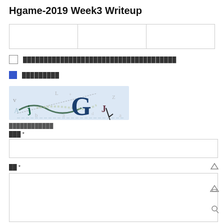Hgame-2019 Week3 Writeup
|  |  |  |
| --- | --- | --- |
|  |  |  |
□ ████████████████████████████████████
■ █████████
[Figure (screenshot): CAPTCHA image with scattered letters and a large G character on light blue background]
████████████
███ *
██ *